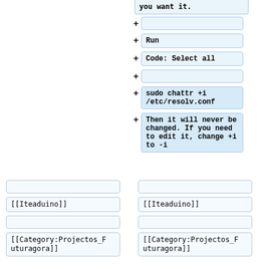you want it.
(empty diff box)
Run
Code: Select all
(empty diff box)
sudo chattr +i /etc/resolv.conf
Then it will never be changed. If you need to edit it, change +i to -i
[[Iteaduino]]
[[Iteaduino]]
[[Category:Projectos_Futuragora]]
[[Category:Projectos_Futuragora]]